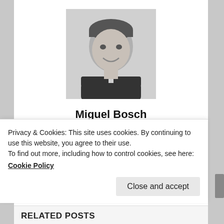[Figure (photo): Black and white headshot photo of Miguel Bosch, a man smiling at the camera]
Miguel Bosch
Miguel Bosch is the editor-in-chief of GT REPORT and an avid racing fan. Besides working for GT REPORT, Miguel helps teams, drivers, agencies and other media outlets out with PR and journalistic work and photography. When it doesn't clash with racing you'll find him cheering...
Privacy & Cookies: This site uses cookies. By continuing to use this website, you agree to their use.
To find out more, including how to control cookies, see here:
Cookie Policy
RELATED POSTS